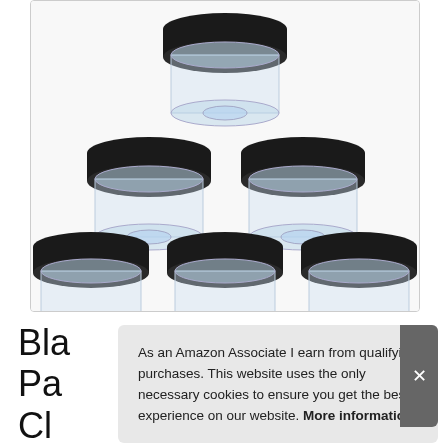[Figure (photo): Product photo showing six clear cosmetic/storage jars with black lids arranged in a pyramid formation (one on top, two in middle row, three on bottom row) on a white background.]
Bla Pa Cl with Lid for Travel Storage
As an Amazon Associate I earn from qualifying purchases. This website uses the only necessary cookies to ensure you get the best experience on our website. More information